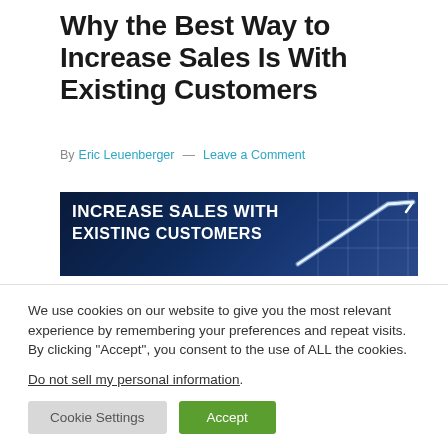Why the Best Way to Increase Sales Is With Existing Customers
By Eric Leuenberger — Leave a Comment
[Figure (illustration): Dark blue banner image with text 'INCREASE SALES WITH EXISTING CUSTOMERS' in bold white uppercase letters, with a glowing arrow graphic on the right side]
We use cookies on our website to give you the most relevant experience by remembering your preferences and repeat visits. By clicking "Accept", you consent to the use of ALL the cookies.
Do not sell my personal information.
Cookie Settings   Accept